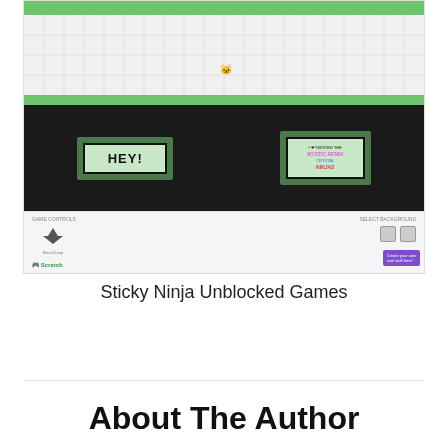[Figure (screenshot): Screenshot of a Sticky Ninja Unblocked Games web page showing a game interface with a grid area, green bars, black panel with two signs reading 'HEY!' and game instructions, and game controls at the bottom.]
Sticky Ninja Unblocked Games
About The Author